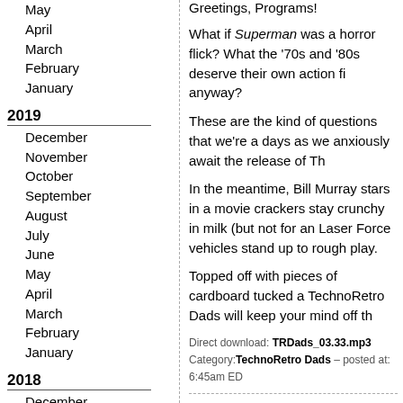May
April
March
February
January
2019
December
November
October
September
August
July
June
May
April
March
February
January
2018
December
November
October
September
August
July
June
May
April
March
February
January
Greetings, Programs!
What if Superman was a horror flick?  What the '70s and '80s deserve their own action fi anyway?
These are the kind of questions that we're a days as we anxiously await the release of Th
In the meantime, Bill Murray stars in a movie crackers stay crunchy in milk (but not for an Laser Force vehicles stand up to rough play.
Topped off with pieces of cardboard tucked a TechnoRetro Dads will keep your mind off th
Direct download: TRDads_03.33.mp3
Category:TechnoRetro Dads – posted at: 6:45am ED